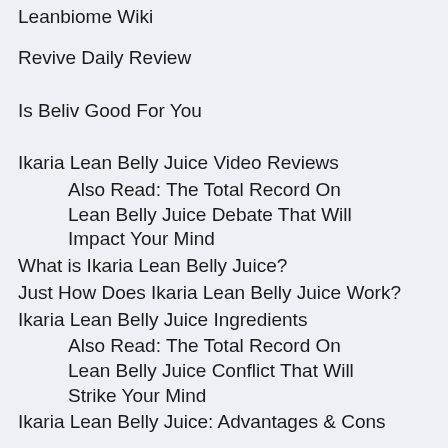Leanbiome Wiki
Revive Daily Review
Is Beliv Good For You
Ikaria Lean Belly Juice Video Reviews
Also Read: The Total Record On Lean Belly Juice Debate That Will Impact Your Mind
What is Ikaria Lean Belly Juice?
Just How Does Ikaria Lean Belly Juice Work?
Ikaria Lean Belly Juice Ingredients
Also Read: The Total Record On Lean Belly Juice Conflict That Will Strike Your Mind
Ikaria Lean Belly Juice: Advantages & Cons